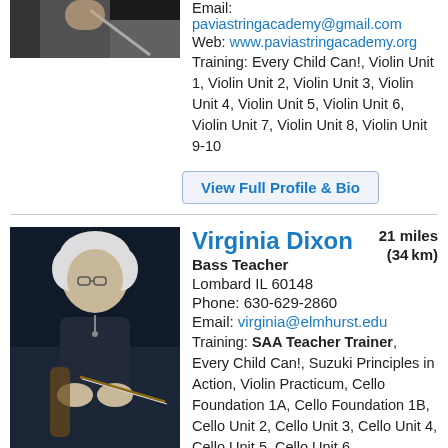[Figure (photo): Partial photo of a person at top left, cropped]
Email: paviastringacademy@gmail.com
Web: www.paviastringacademy.org
Training: Every Child Can!, Violin Unit 1, Violin Unit 2, Violin Unit 3, Violin Unit 4, Violin Unit 5, Violin Unit 6, Violin Unit 7, Violin Unit 8, Violin Unit 9-10
View Full Profile & Bio
[Figure (photo): Photo of Virginia Dixon, a woman with short curly white hair, wearing a dark top, holding a bass bow, seated with a double bass]
Virginia Dixon
21 miles (34 km)
Bass Teacher
Lombard IL 60148
Phone: 630-629-2860
Email: virginia@elmhurst.edu
Training: SAA Teacher Trainer, Every Child Can!, Suzuki Principles in Action, Violin Practicum, Cello Foundation 1A, Cello Foundation 1B, Cello Unit 2, Cello Unit 3, Cello Unit 4, Cello Unit 5, Cello Unit 6,